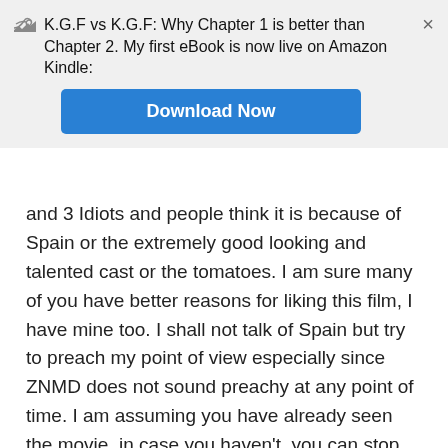K.G.F vs K.G.F: Why Chapter 1 is better than Chapter 2. My first eBook is now live on Amazon Kindle:
Download Now
and 3 Idiots and people think it is because of Spain or the extremely good looking and talented cast or the tomatoes. I am sure many of you have better reasons for liking this film, I have mine too. I shall not talk of Spain but try to preach my point of view especially since ZNMD does not sound preachy at any point of time. I am assuming you have already seen the movie, in case you haven't, you can stop reading this post right now and go watch the film first.
I shall begin with the Mantal Bwoyz
If 3 idiots had the Chatur Balatkaar scene, ZNMD has the Mantal Bwoyz scene that has us in splits. In my case I was in splits, yet at the same time knew that I was laughing at myself too. What being 'With the Bandwagon' means i.e this page is